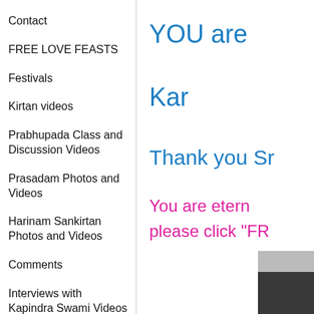Contact
FREE LOVE FEASTS
Festivals
Kirtan videos
Prabhupada Class and Discussion Videos
Prasadam Photos and Videos
Harinam Sankirtan Photos and Videos
Comments
Interviews with Kapindra Swami Videos
Photo Gallery
Kapindra Swami disciple of
YOU are
Kar
Thank you Sr
You are etern
please click "FR
[Figure (photo): Partial photo visible at bottom right corner]